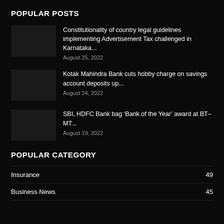POPULAR POSTS
Constitutionality of country legal guidelines implementing Advertisement Tax challenged in Karnataka...
August 25, 2022
Kotak Mahindra Bank cuts hobby charge on savings account deposits up...
August 24, 2022
SBI, HDFC Bank bag ‘Bank of the Year’ award at BT-MT...
August 19, 2022
POPULAR CATEGORY
Insurance    49
Business News    45